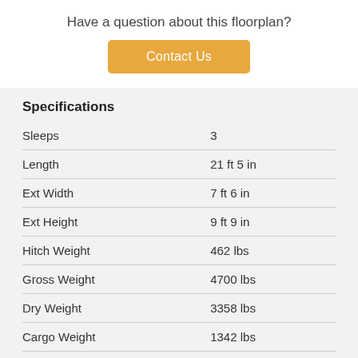Have a question about this floorplan?
Contact Us
Specifications
|  |  |
| --- | --- |
| Sleeps | 3 |
| Length | 21 ft 5 in |
| Ext Width | 7 ft 6 in |
| Ext Height | 9 ft 9 in |
| Hitch Weight | 462 lbs |
| Gross Weight | 4700 lbs |
| Dry Weight | 3358 lbs |
| Cargo Weight | 1342 lbs |
| Fresh Water Capacity | 50 gals |
| Grey Water Capacity | 30 gals |